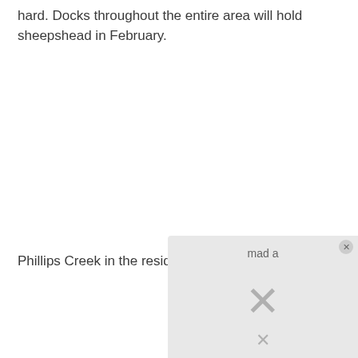hard. Docks throughout the entire area will hold sheepshead in February.
Phillips Creek in the residential areas will still b...
[Figure (other): A partially visible overlay or advertisement box with 'mad a' text, a large X icon and a smaller x below it, overlapping the bottom-right portion of the page.]